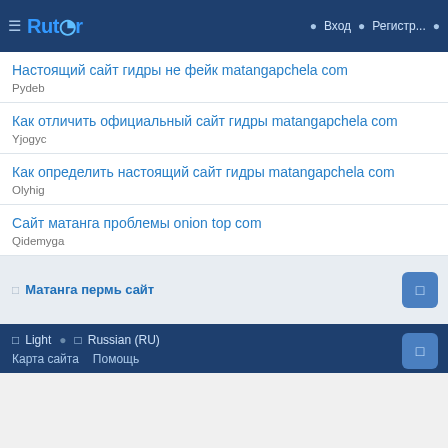Rutor | Вход | Регистр...
Настоящий сайт гидры не фейк matangapchela com
Pydeb
Как отличить официальный сайт гидры matangapchela com
Yjogyc
Как определить настоящий сайт гидры matangapchela com
Olyhig
Сайт матанга проблемы onion top com
Qidemyga
Матанга пермь сайт
Light | Russian (RU) | Карта сайта | Помощь